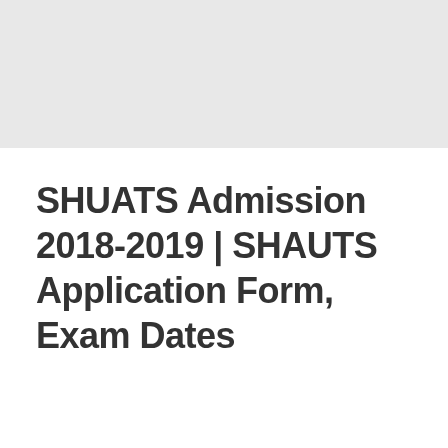SHUATS Admission 2018-2019 | SHAUTS Application Form, Exam Dates